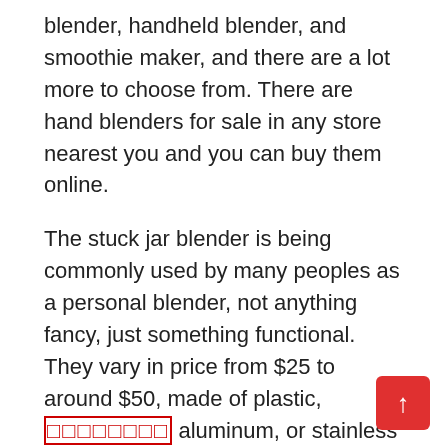blender, handheld blender, and smoothie maker, and there are a lot more to choose from. There are hand blenders for sale in any store nearest you and you can buy them online.
The stuck jar blender is being commonly used by many peoples as a personal blender, not anything fancy, just something functional. They vary in price from $25 to around $50, made of plastic, [redacted] aluminum, or stainless steel.
A portable hand blender comes in many types with varying prices, sizes. Everyday use will be cheaper than a heavy duty professional blender. For about $30, there are hand blenders that have many features includi[ng to] and pitcher, pouring chute, jar chewing and blende[r] longevity meter, as well as an ice chamber. These are